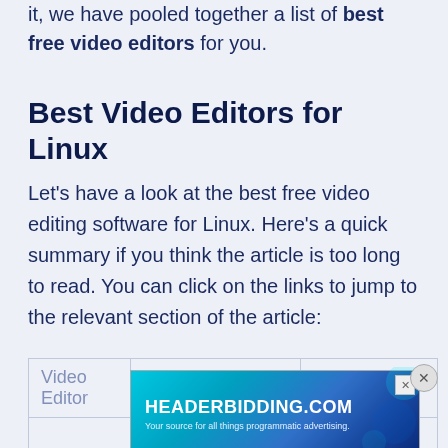it, we have pooled together a list of best free video editors for you.
Best Video Editors for Linux
Let's have a look at the best free video editing software for Linux. Here's a quick summary if you think the article is too long to read. You can click on the links to jump to the relevant section of the article:
| Video Editor | Main Usage | Type |
| --- | --- | --- |
|  | General | Free and |